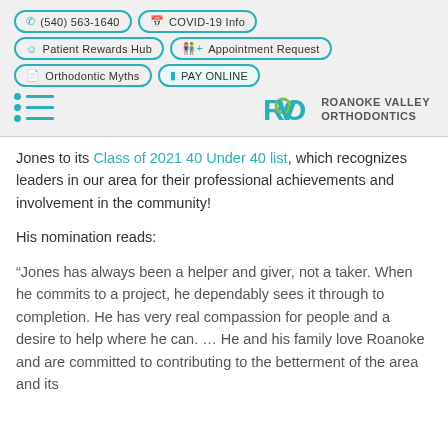(540) 563-1640 | COVID-19 Info | Patient Rewards Hub | Appointment Request | Orthodontic Myths | PAY ONLINE
[Figure (logo): Roanoke Valley Orthodontics logo with RVO monogram in teal and green]
Jones to its Class of 2021 40 Under 40 list, which recognizes leaders in our area for their professional achievements and involvement in the community!
His nomination reads:
“Jones has always been a helper and giver, not a taker. When he commits to a project, he dependably sees it through to completion. He has very real compassion for people and a desire to help where he can. … He and his family love Roanoke and are committed to contributing to the betterment of the area and its